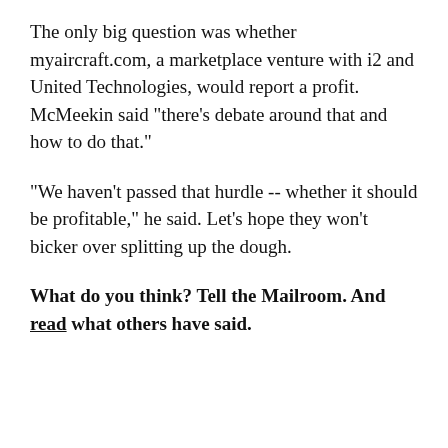The only big question was whether myaircraft.com, a marketplace venture with i2 and United Technologies, would report a profit. McMeekin said "there's debate around that and how to do that."
"We haven't passed that hurdle -- whether it should be profitable," he said. Let's hope they won't bicker over splitting up the dough.
What do you think? Tell the Mailroom. And read what others have said.